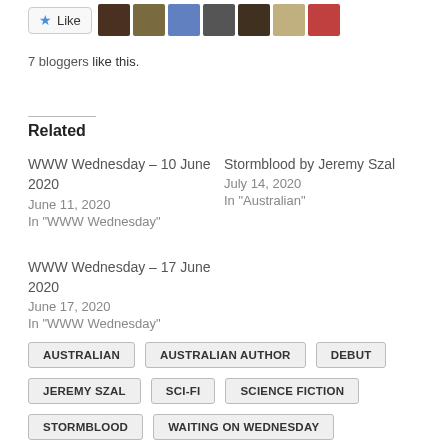[Figure (other): Like button with star icon followed by 7 blogger avatar thumbnails]
7 bloggers like this.
Related
WWW Wednesday – 10 June 2020
June 11, 2020
In "WWW Wednesday"
Stormblood by Jeremy Szal
July 14, 2020
In "Australian"
WWW Wednesday – 17 June 2020
June 17, 2020
In "WWW Wednesday"
AUSTRALIAN
AUSTRALIAN AUTHOR
DEBUT
JEREMY SZAL
SCI-FI
SCIENCE FICTION
STORMBLOOD
WAITING ON WEDNESDAY